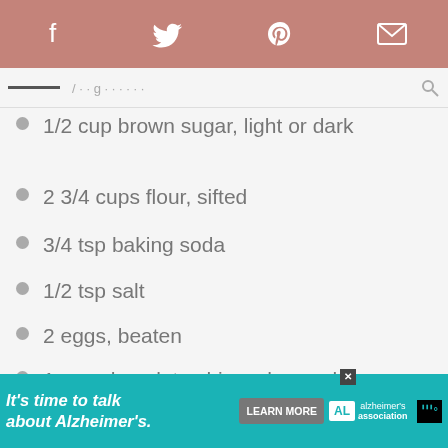Social share bar with icons: Facebook, Twitter, Pinterest, Email
1/2 cup brown sugar, light or dark
2 3/4 cups flour, sifted
3/4 tsp baking soda
1/2 tsp salt
2 eggs, beaten
1 cup chocolate chips, chopped chocolate, or chopped Snickers plus a little extra to add to the cookies before baking
It's time to talk about Alzheimer's. LEARN MORE